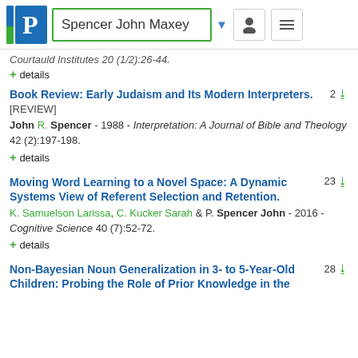Spencer John Maxey
Courtauld Institutes 20 (1/2):26-44.
+ details
Book Review: Early Judaism and Its Modern Interpreters. [REVIEW]
John R. Spencer - 1988 - Interpretation: A Journal of Bible and Theology 42 (2):197-198.
+ details
Moving Word Learning to a Novel Space: A Dynamic Systems View of Referent Selection and Retention.
K. Samuelson Larissa, C. Kucker Sarah & P. Spencer John - 2016 - Cognitive Science 40 (7):52-72.
+ details
Non-Bayesian Noun Generalization in 3- to 5-Year-Old Children: Probing the Role of Prior Knowledge in the